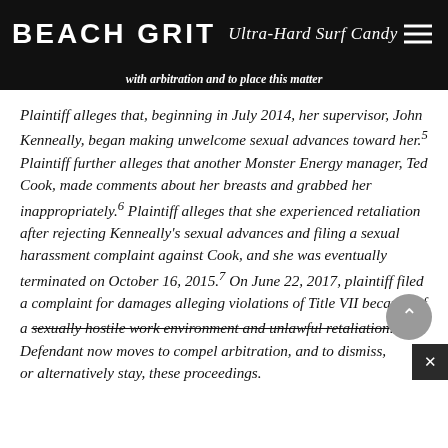BEACH GRIT Ultra-Hard Surf Candy
with arbitration and to place this matter
Plaintiff alleges that, beginning in July 2014, her supervisor, John Kenneally, began making unwelcome sexual advances toward her.5 Plaintiff further alleges that another Monster Energy manager, Ted Cook, made comments about her breasts and grabbed her inappropriately.6 Plaintiff alleges that she experienced retaliation after rejecting Kenneally's sexual advances and filing a sexual harassment complaint against Cook, and she was eventually terminated on October 16, 2015.7 On June 22, 2017, plaintiff filed a complaint for damages alleging violations of Title VII because of a sexually hostile work environment and unlawful retaliation.8 Defendant now moves to compel arbitration, and to dismiss, or alternatively stay, these proceedings.